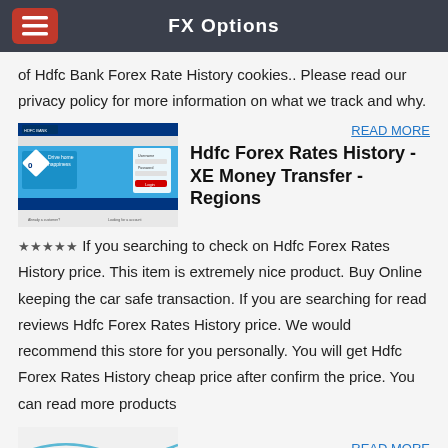FX Options
of Hdfc Bank Forex Rate History cookies.. Please read our privacy policy for more information on what we track and why.
[Figure (screenshot): Screenshot of HDFC Bank website showing a banner with 'Drive home happiness' and 'ZERO' text, with navigation menu.]
READ MORE
Hdfc Forex Rates History - XE Money Transfer - Regions
★★★★★ If you searching to check on Hdfc Forex Rates History price. This item is extremely nice product. Buy Online keeping the car safe transaction. If you are searching for read reviews Hdfc Forex Rates History price. We would recommend this store for you personally. You will get Hdfc Forex Rates History cheap price after confirm the price. You can read more products
[Figure (screenshot): History of Banking logo/banner image with blue wave design.]
READ MORE